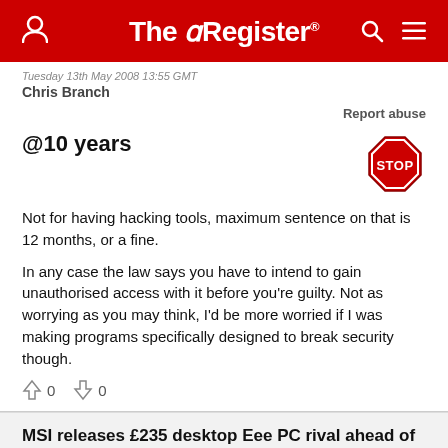The Register
Tuesday 13th May 2008 13:55 GMT
Chris Branch
Report abuse
@10 years
Not for having hacking tools, maximum sentence on that is 12 months, or a fine.

In any case the law says you have to intend to gain unauthorised access with it before you're guilty. Not as worrying as you may think, I'd be more worried if I was making programs specifically designed to break security though.
↑ 0   ↓ 0
MSI releases £235 desktop Eee PC rival ahead of Asus